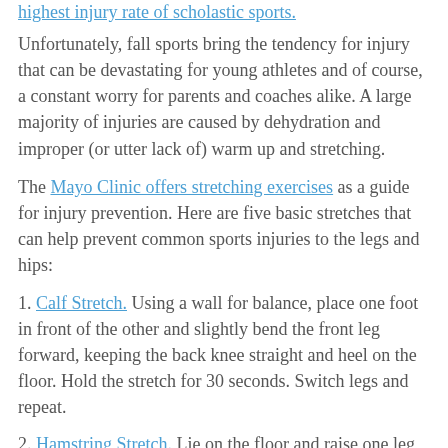highest injury rate of scholastic sports.
Unfortunately, fall sports bring the tendency for injury that can be devastating for young athletes and of course, a constant worry for parents and coaches alike. A large majority of injuries are caused by dehydration and improper (or utter lack of) warm up and stretching.
The Mayo Clinic offers stretching exercises as a guide for injury prevention. Here are five basic stretches that can help prevent common sports injuries to the legs and hips:
1. Calf Stretch. Using a wall for balance, place one foot in front of the other and slightly bend the front leg forward, keeping the back knee straight and heel on the floor. Hold the stretch for 30 seconds. Switch legs and repeat.
2. Hamstring Stretch. Lie on the floor and raise one leg, keeping the knee slightly bent. Straighten the knee and hold the stretch for 30 seconds. Switch legs and repeat.
3. Quadriceps Stretch. Using a wall for balance, grasp one ankle and pull back up and back. Hold for 30 seconds. Switch